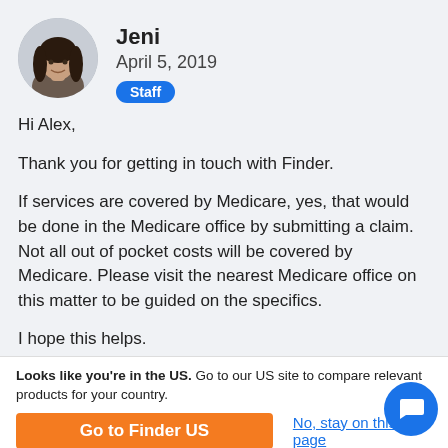[Figure (photo): Circular avatar photo of a young woman named Jeni with long dark hair, smiling]
Jeni
April 5, 2019
Staff
Hi Alex,

Thank you for getting in touch with Finder.

If services are covered by Medicare, yes, that would be done in the Medicare office by submitting a claim. Not all out of pocket costs will be covered by Medicare. Please visit the nearest Medicare office on this matter to be guided on the specifics.

I hope this helps.
Looks like you're in the US. Go to our US site to compare relevant products for your country.
Go to Finder US
No, stay on this page